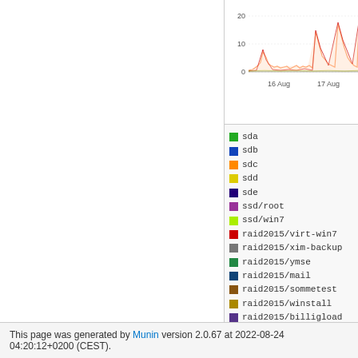[Figure (continuous-plot): Time series line/area chart showing disk activity data. Y-axis shows values 0, 10, 20. X-axis shows dates 16 Aug and 17 Aug. Multiple colored series visible, mostly near 0 with spikes up to ~20.]
sda
sdb
sdc
sdd
sde
ssd/root
ssd/win7
raid2015/virt-win7
raid2015/xim-backup
raid2015/ymse
raid2015/mail
raid2015/sommetest
raid2015/winstall
raid2015/billigload
raid2015/samba4dc
raid2015/win10
raid2015/home
raid2015/backuppc
raid2015/dugong
raid2015/libvirt
raid2015/media
raid2015/pr0n
raid2015/raspbian
raid2015/ubuntu
This page was generated by Munin version 2.0.67 at 2022-08-24 04:20:12+0200 (CEST).